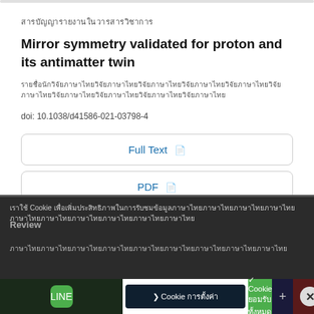ประเภทเอกสารภาษาไทย (Thai category text)
Mirror symmetry validated for proton and its antimatter twin
ผู้แต่ง/Authors (Thai author names redacted)
doi: 10.1038/d41586-021-03798-4
Full Text
PDF
Cookie overlay text in Thai
Review
Cookie button bar